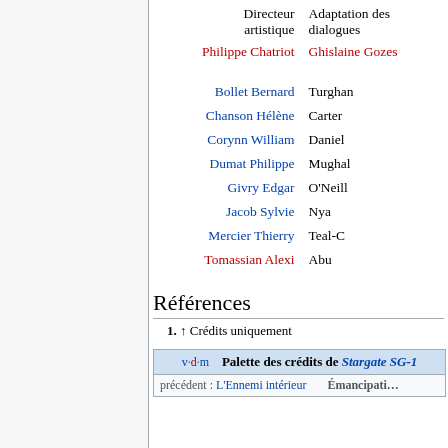| Directeur artistique | Adaptation des dialogues |
| --- | --- |
| Philippe Chatriot | Ghislaine Gozes |
| Bollet Bernard | Turghan |
| Chanson Hélène | Carter |
| Corynn William | Daniel |
| Dumat Philippe | Mughal |
| Givry Edgar | O'Neill |
| Jacob Sylvie | Nya |
| Mercier Thierry | Teal-C |
| Tomassian Alexi | Abu |
Références
1. ↑ Crédits uniquement
| v·d·m | Palette des crédits de Stargate SG-1 |
| --- | --- |
| précédent : L'Ennemi intérieur | Émancipati… |